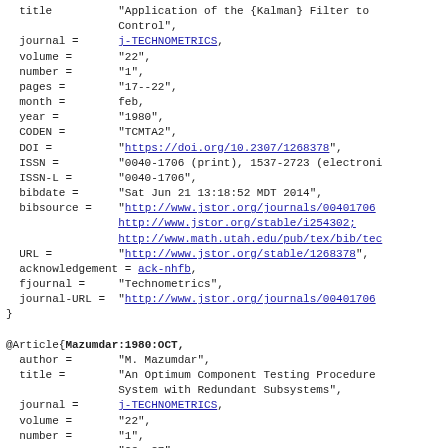BibTeX bibliography entries showing journal article metadata including fields: title, journal, volume, number, pages, month, year, CODEN, DOI, ISSN, ISSN-L, bibdate, bibsource, URL, acknowledgement, fjournal, journal-URL for two articles.